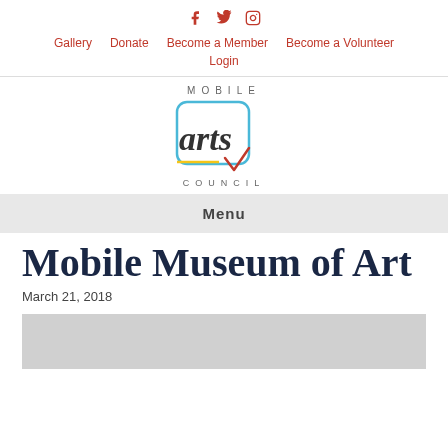f  tw  ig  |  Gallery  Donate  Become a Member  Become a Volunteer  Login
[Figure (logo): Mobile Arts Council logo with stylized 'arts' script inside a rounded square outline with blue, yellow, and red accent colors]
Menu
Mobile Museum of Art
March 21, 2018
[Figure (photo): Gray image placeholder at bottom of page]